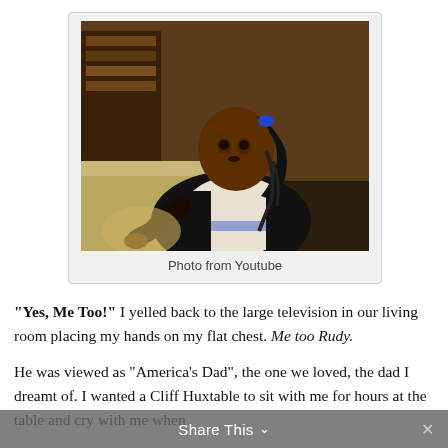[Figure (photo): A young Black girl with braided hair and blue hair accessory, wearing a patterned sweater, sitting on a couch, looking to the side. TV show still frame.]
Photo from Youtube
“Yes, Me Too!” I yelled back to the large television in our living room placing my hands on my flat chest. Me too Rudy.
He was viewed as “America’s Dad”, the one we loved, the dad I dreamt of. I wanted a Cliff Huxtable to sit with me for hours at the table and cry with me when
Share This